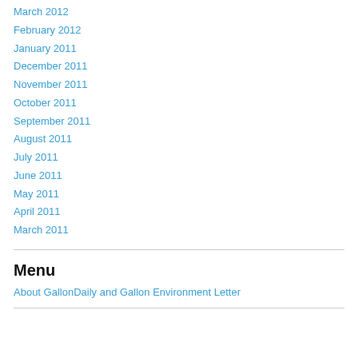March 2012
February 2012
January 2011
December 2011
November 2011
October 2011
September 2011
August 2011
July 2011
June 2011
May 2011
April 2011
March 2011
Menu
About GallonDaily and Gallon Environment Letter